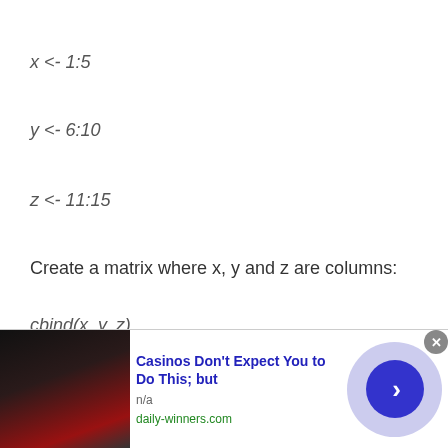Create a matrix where x, y and z are columns:
x  y  z
[1,] 1  6 11
[2,] 2  7 12
[Figure (other): Advertisement banner: Casinos Don't Expect You to Do This; but — daily-winners.com]